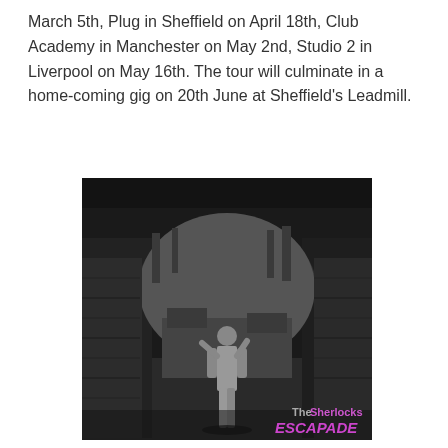March 5th, Plug in Sheffield on April 18th, Club Academy in Manchester on May 2nd, Studio 2 in Liverpool on May 16th. The tour will culminate in a home-coming gig on 20th June at Sheffield's Leadmill.
[Figure (photo): Black and white photograph viewed through a stone archway showing a figure in a courtyard with old buildings and bare trees in the background. In the bottom right corner, overlay text reads 'TheSherlocks ESCAPADE' with 'The' in grey, 'Sherlocks' in purple, and 'ESCAPADE' in purple italic.]